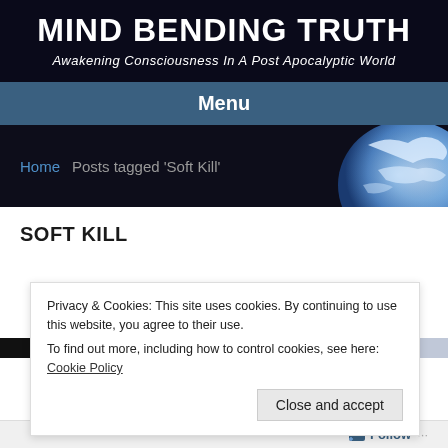MIND BENDING TRUTH
Awakening Consciousness In A Post Apocalyptic World
Menu
Home  Posts tagged 'Soft Kill'
SOFT KILL
Privacy & Cookies: This site uses cookies. By continuing to use this website, you agree to their use.
To find out more, including how to control cookies, see here: Cookie Policy
Close and accept
Follow